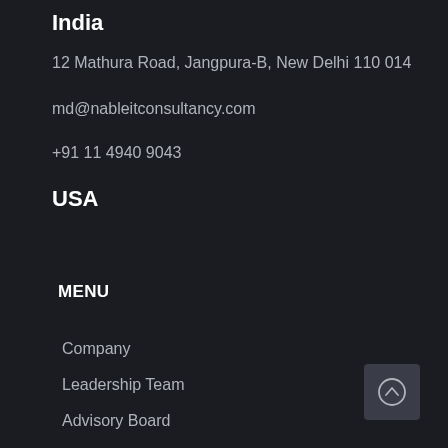India
12 Mathura Road, Jangpura-B, New Delhi 110 014
md@nableitconsultancy.com
+91 11 4940 9043
USA
MENU
Company
Leadership Team
Advisory Board
Alliances
Recognition & Awards